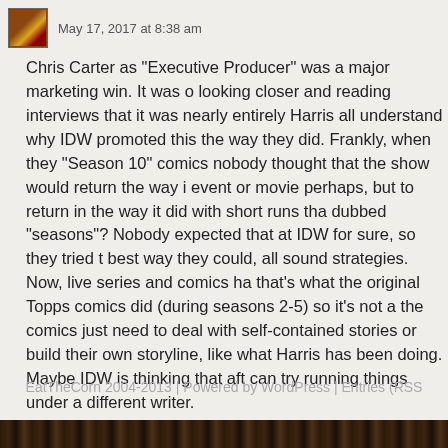May 17, 2017 at 8:38 am
Chris Carter as “Executive Producer” was a major marketing win. It was o looking closer and reading interviews that it was nearly entirely Harris all understand why IDW promoted this the way they did. Frankly, when they “Season 10” comics nobody thought that the show would return the way i event or movie perhaps, but to return in the way it did with short runs tha dubbed “seasons”? Nobody expected that at IDW for sure, so they tried t best way they could, all sound strategies. Now, live series and comics ha that’s what the original Topps comics did (during seasons 2-5) so it’s not a the comics just need to deal with self-contained stories or build their own storyline, like what Harris has been doing. Maybe IDW is thinking that aft can try running things under a different writer.
EatTheCorn 2004-2013 | Powered by WordPress | Entries (RSS